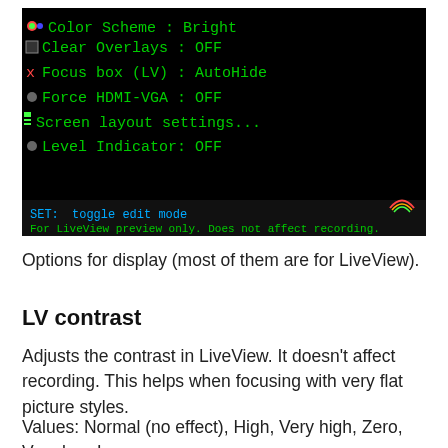[Figure (screenshot): Camera menu screenshot showing display settings on black background: Color Scheme: Bright, Clear Overlays: OFF, Focus box (LV): AutoHide, Force HDMI-VGA: OFF, Screen layout settings..., Level Indicator: OFF. Bottom bar shows 'SET: toggle edit mode' and 'For LiveView preview only. Does not affect recording.']
Options for display (most of them are for LiveView).
LV contrast
Adjusts the contrast in LiveView. It doesn't affect recording. This helps when focusing with very flat picture styles.
Values: Normal (no effect), High, Very high, Zero, Very low, Low.